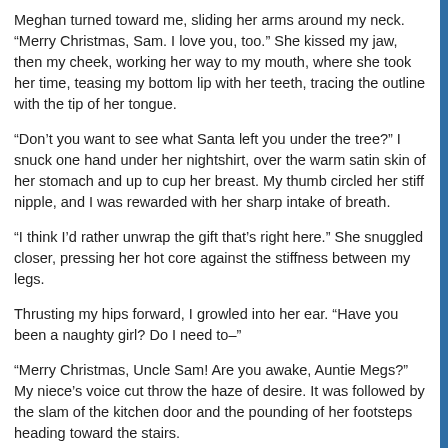Meghan turned toward me, sliding her arms around my neck. “Merry Christmas, Sam. I love you, too.” She kissed my jaw, then my cheek, working her way to my mouth, where she took her time, teasing my bottom lip with her teeth, tracing the outline with the tip of her tongue.
“Don’t you want to see what Santa left you under the tree?” I snuck one hand under her nightshirt, over the warm satin skin of her stomach and up to cup her breast. My thumb circled her stiff nipple, and I was rewarded with her sharp intake of breath.
“I think I’d rather unwrap the gift that’s right here.” She snuggled closer, pressing her hot core against the stiffness between my legs.
Thrusting my hips forward, I growled into her ear. “Have you been a naughty girl? Do I need to–”
“Merry Christmas, Uncle Sam! Are you awake, Auntie Megs?” My niece’s voice cut throw the haze of desire. It was followed by the slam of the kitchen door and the pounding of her footsteps heading toward the stairs.
“Fuck.” I dropped my forehead against Meghan’s shoulder, groaning.